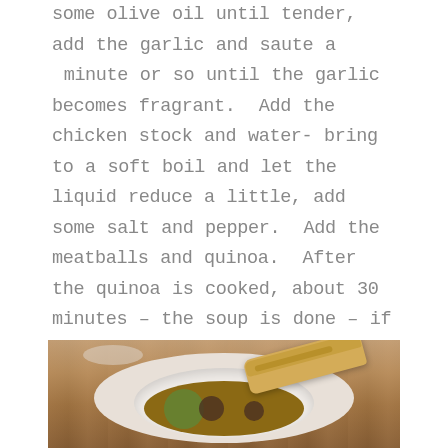some olive oil until tender, add the garlic and saute a  minute or so until the garlic becomes fragrant.  Add the chicken stock and water- bring to a soft boil and let the liquid reduce a little, add some salt and pepper.  Add the meatballs and quinoa.  After the quinoa is cooked, about 30 minutes – the soup is done – if you are going to serve the next day, wait to add the spinach, if serving right away add it at this step and cook 5 more minutes until the spinach is done.  Taste for salt and pepper – depending on your stock type you may need more or less salt, so tasting is the way to go.  Enjoy!
[Figure (photo): A bowl of soup with meatballs and vegetables, with a piece of toasted bread/garlic bread leaning on the side, served on a white plate on a wooden surface.]